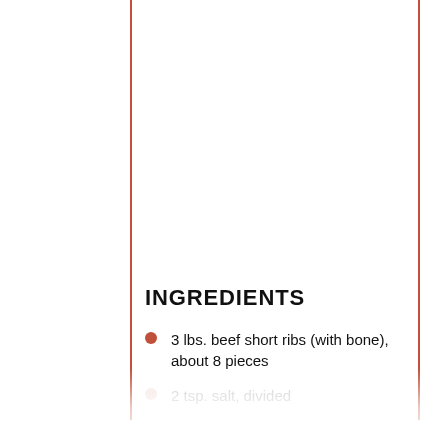INGREDIENTS
3 lbs. beef short ribs (with bone), about 8 pieces
2 tsp. salt, divided